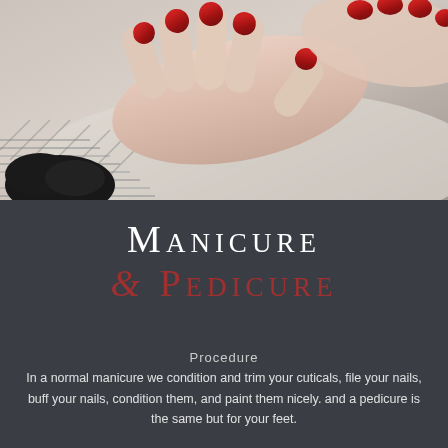[Figure (photo): Close-up photo of hands with red painted nails resting on a surface, with dark/black objects in the bottom left corner]
Manicure & Pedicure
Procedure
In a normal manicure we condition and trim your cuticals, file your nails, buff your nails, condition them, and paint them nicely. and a pedicure is the same but for your feet.